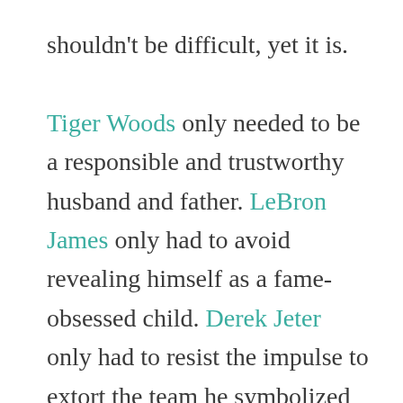shouldn't be difficult, yet it is. Tiger Woods only needed to be a responsible and trustworthy husband and father. LeBron James only had to avoid revealing himself as a fame-obsessed child. Derek Jeter only had to resist the impulse to extort the team he symbolized for money he neither deserved or needed. Yet they couldn't, or wouldn't do it. They hurt their own images, reputation and